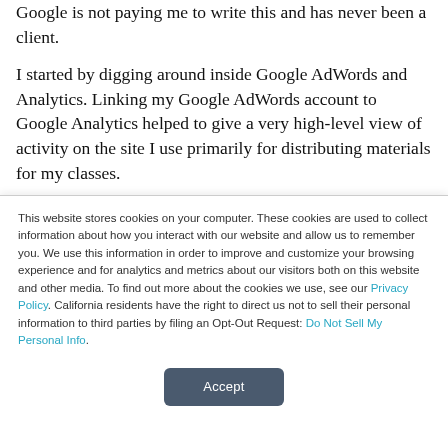Google is not paying me to write this and has never been a client.
I started by digging around inside Google AdWords and Analytics. Linking my Google AdWords account to Google Analytics helped to give a very high-level view of activity on the site I use primarily for distributing materials for my classes.
This website stores cookies on your computer. These cookies are used to collect information about how you interact with our website and allow us to remember you. We use this information in order to improve and customize your browsing experience and for analytics and metrics about our visitors both on this website and other media. To find out more about the cookies we use, see our Privacy Policy. California residents have the right to direct us not to sell their personal information to third parties by filing an Opt-Out Request: Do Not Sell My Personal Info.
Accept